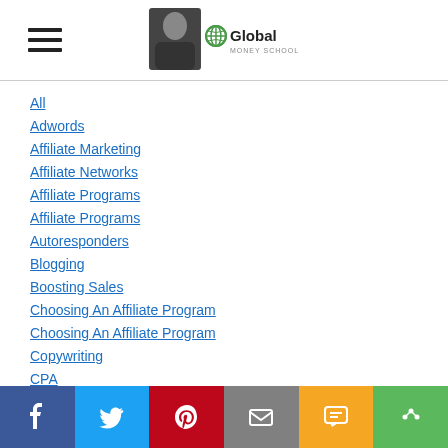Global Money School - navigation header with hamburger menu and logo
All
Adwords
Affiliate Marketing
Affiliate Networks
Affiliate Programs
Affiliate Programs
Autoresponders
Blogging
Boosting Sales
Choosing An Affiliate Program
Choosing An Affiliate Program
Copywriting
CPA
CPC
Disclosures
Social share bar: Facebook, Twitter, Pinterest, Email, SMS, More